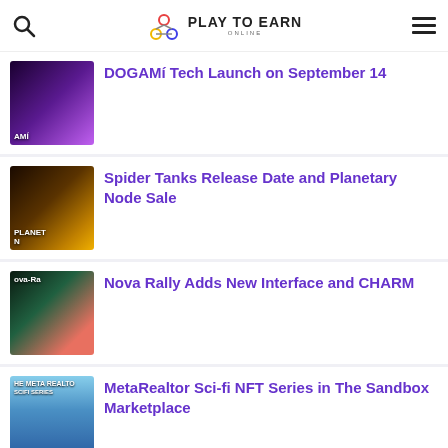Play To Earn Online
DOGAMí Tech Launch on September 14
Spider Tanks Release Date and Planetary Node Sale
Nova Rally Adds New Interface and CHARM
MetaRealtor Sci-fi NFT Series in The Sandbox Marketplace